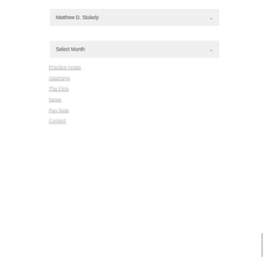Matthew D. Stokely
Select Month
Practice Areas
Attorneys
The Firm
News
Pay Now
Contact